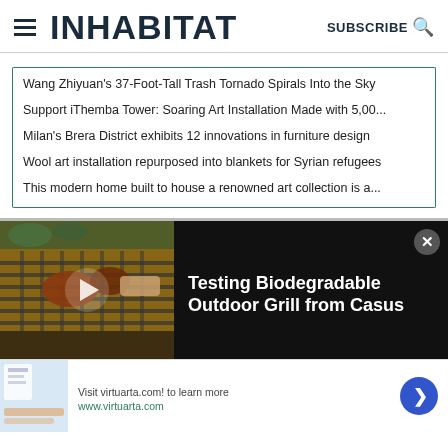INHABITAT — SUBSCRIBE
Wang Zhiyuan's 37-Foot-Tall Trash Tornado Spirals Into the Sky
Support iThemba Tower: Soaring Art Installation Made with 5,00...
Milan's Brera District exhibits 12 innovations in furniture design
Wool art installation repurposed into blankets for Syrian refugees
This modern home built to house a renowned art collection is a...
[Figure (screenshot): Video advertisement showing a biodegradable outdoor grill with food being cooked, with play button overlay. Title reads: Testing Biodegradable Outdoor Grill from Casus]
Visit virtuarta.com! to learn more
www.virtuarta.com